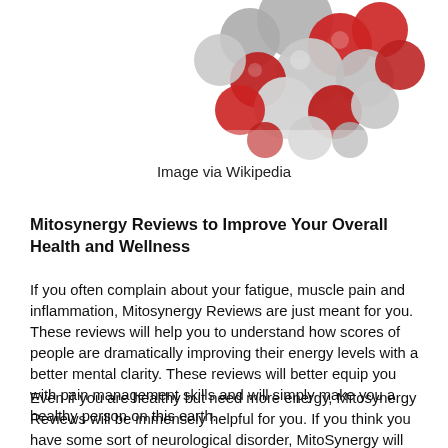[Figure (photo): 3D molecular model with red and grey spheres representing a chemical/biochemical molecule, partially visible at top of page]
Image via Wikipedia
Mitosynergy Reviews to Improve Your Overall Health and Wellness
If you often complain about your fatigue, muscle pain and inflammation, Mitosynergy Reviews are just meant for you. These reviews will help you to understand how scores of people are dramatically improving their energy levels with a better mental clarity. These reviews will better equip you with pain management skills and will simply make you a healthy person on this earth.
Even if you are healthy but need more energy, Mitosynergy Reviews will be immensely helpful for you. If you think you have some sort of neurological disorder, MitoSynergy will take care of your problem and will make